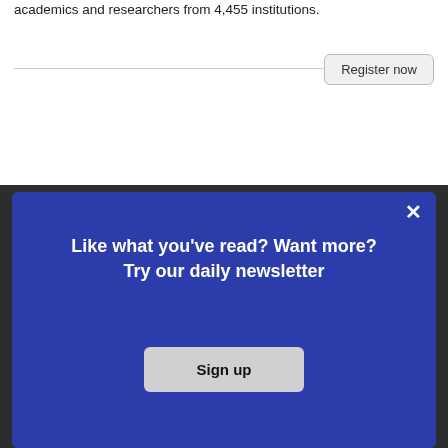academics and researchers from 4,455 institutions.
Register now
Who we are
Our charter
Our team
Partners and supporters
Jobs
Editorial Policies
Like what you've read? Want more? Try our daily newsletter
Sign up